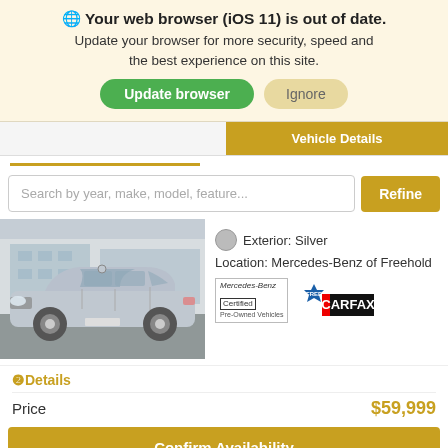Your web browser (iOS 11) is out of date. Update your browser for more security, speed and the best experience on this site.
Vehicle Details
Search by year, make, model, feature...
[Figure (photo): Silver Mercedes-Benz E-Class sedan parked outside a dealership]
Exterior: Silver
Location: Mercedes-Benz of Freehold
[Figure (logo): Mercedes-Benz Certified Pre-Owned Vehicles logo]
[Figure (logo): FREE CARFAX badge]
Details
Price
$59,999
Confirm Availability